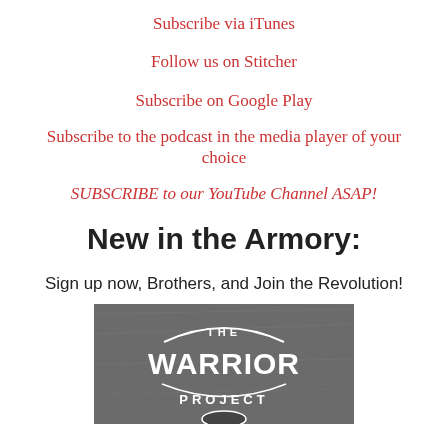Subscribe via iTunes
Follow us on Stitcher
Subscribe on Google Play
Subscribe to the podcast in the media player of your choice
SUBSCRIBE to our YouTube Channel ASAP!
New in the Armory:
Sign up now, Brothers, and Join the Revolution!
[Figure (logo): The Warrior Project logo on a dark grey textured background with white bold text]